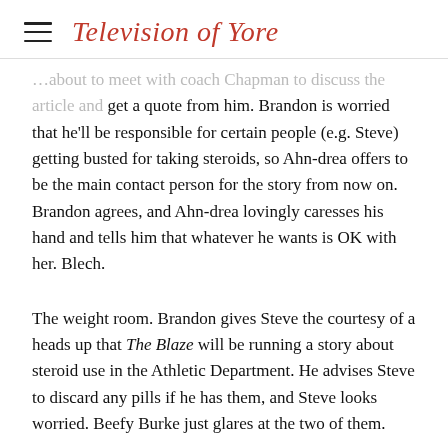Television of Yore
…about to meet with coach Chapman to discuss the article and get a quote from him. Brandon is worried that he'll be responsible for certain people (e.g. Steve) getting busted for taking steroids, so Ahn-drea offers to be the main contact person for the story from now on. Brandon agrees, and Ahn-drea lovingly caresses his hand and tells him that whatever he wants is OK with her. Blech.
The weight room. Brandon gives Steve the courtesy of a heads up that The Blaze will be running a story about steroid use in the Athletic Department. He advises Steve to discard any pills if he has them, and Steve looks worried. Beefy Burke just glares at the two of them.
Coach Chapman is addressing the track team with Ahn-drea standing beside him. He's angry to hear about the alleged